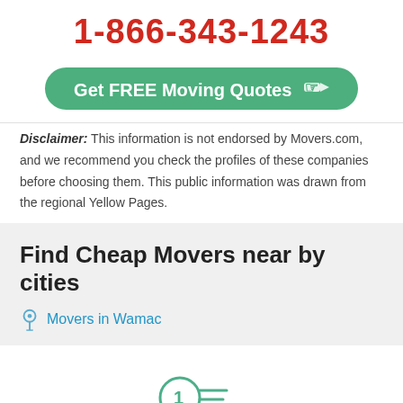1-866-343-1243
[Figure (other): Green rounded button with text 'Get FREE Moving Quotes' and a pointing hand icon]
Disclaimer: This information is not endorsed by Movers.com, and we recommend you check the profiles of these companies before choosing them. This public information was drawn from the regional Yellow Pages.
Find Cheap Movers near by cities
Movers in Wamac
[Figure (illustration): A checklist with pencil icon in teal/green outline style, showing numbered list items being written]